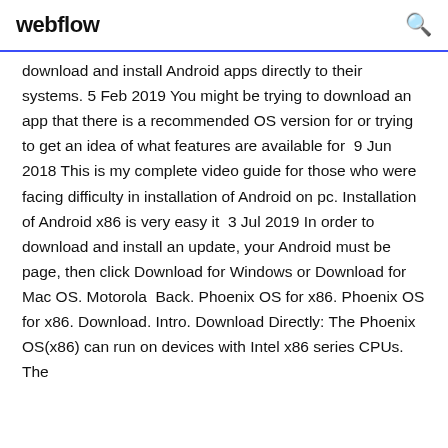webflow
download and install Android apps directly to their systems. 5 Feb 2019 You might be trying to download an app that there is a recommended OS version for or trying to get an idea of what features are available for  9 Jun 2018 This is my complete video guide for those who were facing difficulty in installation of Android on pc. Installation of Android x86 is very easy it  3 Jul 2019 In order to download and install an update, your Android must be page, then click Download for Windows or Download for Mac OS. Motorola  Back. Phoenix OS for x86. Phoenix OS for x86. Download. Intro. Download Directly: The Phoenix OS(x86) can run on devices with Intel x86 series CPUs. The